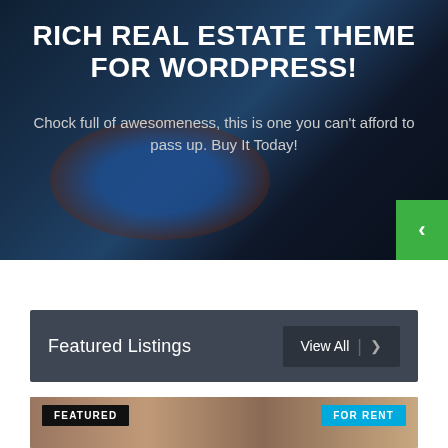[Figure (screenshot): Hero banner with blurred outdoor pool/resort background, dark overlay]
RICH REAL ESTATE THEME FOR WORDPRESS!
Chock full of awesomeness, this is one you can't afford to pass up. Buy It Today!
Featured Listings
View All  |  ›
[Figure (photo): Interior room photo with warm lighting, with FEATURED and FOR RENT badges]